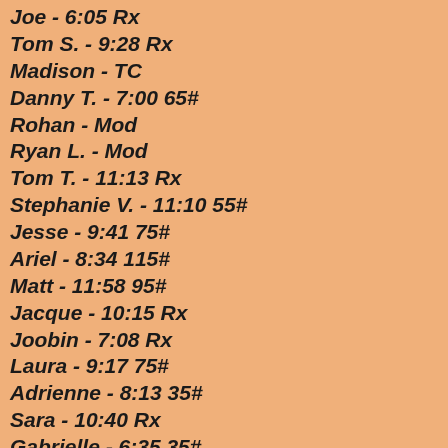Joe - 6:05 Rx
Tom S. - 9:28 Rx
Madison - TC
Danny T. - 7:00 65#
Rohan - Mod
Ryan L. - Mod
Tom T. - 11:13 Rx
Stephanie V. - 11:10 55#
Jesse - 9:41 75#
Ariel - 8:34 115#
Matt - 11:58 95#
Jacque - 10:15 Rx
Joobin - 7:08 Rx
Laura - 9:17 75#
Adrienne - 8:13 35#
Sara - 10:40 Rx
Gabrielle - 6:35 35#
Rich - Mod
Charise - 8:18 55#
Gladys - 5:41 35#
Yen - 8:30 35#
Subhi - 12:05 95#
Joelle S. - 9:00 55#